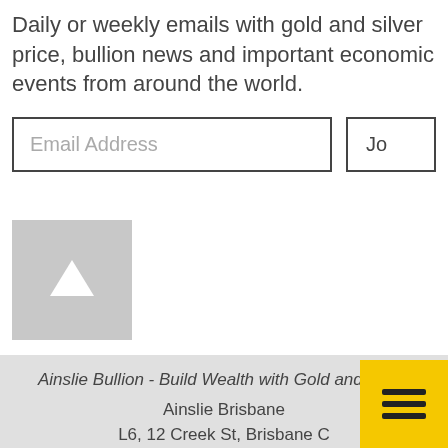Daily or weekly emails with gold and silver price, bullion news and important economic events from around the world.
[Figure (other): Email address input field with border and 'Email Address' placeholder text, and a partially visible 'Jo' join button to the right]
[Figure (other): Grey square scroll-to-top button with white upward arrow icon]
Ainslie Bullion - Build Wealth with Gold and Silver
Ainslie Brisbane
L6, 12 Creek St, Brisbane C
1800 819 474
[Figure (other): Yellow square hamburger menu button with three horizontal black lines]